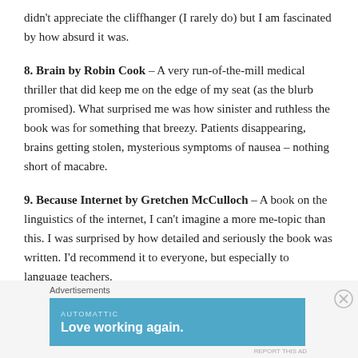didn't appreciate the cliffhanger (I rarely do) but I am fascinated by how absurd it was.
8. Brain by Robin Cook – A very run-of-the-mill medical thriller that did keep me on the edge of my seat (as the blurb promised). What surprised me was how sinister and ruthless the book was for something that breezy. Patients disappearing, brains getting stolen, mysterious symptoms of nausea – nothing short of macabre.
9. Because Internet by Gretchen McCulloch – A book on the linguistics of the internet, I can't imagine a more me-topic than this. I was surprised by how detailed and seriously the book was written. I'd recommend it to everyone, but especially to language teachers.
Advertisements
[Figure (other): Advertisement banner for Automattic with tagline 'Love working again.' on a blue background.]